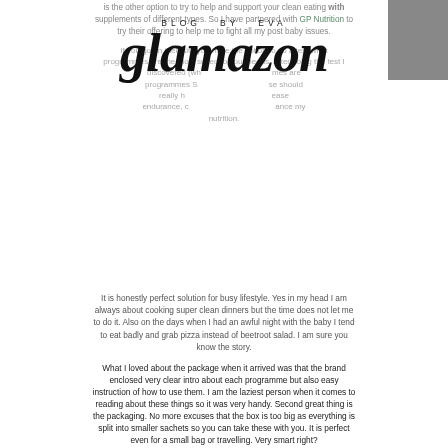is the other option to try to help and support your clean eating with supplements of different types. So I have partnered with GP Nutrition to try their offering to help me to fight all my post baby issues.
If you go on their site you have the option to do a test what programmes are the most suited to your needs. After doing the test I discovered (which I agreed with) that the programmes are programmes SLIM Me, BOOST Me and POSE Me. These should really help me with my weight issues, help me increase endurance, cure my cravings and also help me to enhance my nutrition.
[Figure (logo): Blog by Eva glamazon script logo]
It is honestly perfect solution for busy lifestyle. Yes in my head I am always about cooking super clean dinners but the time does not let me to do it. Also on the days when I had an awful night with the baby I tend to eat badly and grab pizza instead of beetroot salad. I am sure you know the story.
What I loved about the package when it arrived was that the brand enclosed very clear intro about each programme but also easy instruction of how to use them. I am the laziest person when it comes to reading about these things so it was very handy. Second great thing is the packaging. No more excuses that the box is too big as everything is split into smaller sachets so you can take these with you. It is perfect even for a small bag or travelling. Very smart right?
And if you ask me if all this works? Yes, I have definitely seen some improvements and I have only been using these for two weeks or so. The biggest different I have noticed is when I used My Gel from the SLIM Me programme I feel my cravings are gone and also I am not that hungry. Isn't that what we need after all?